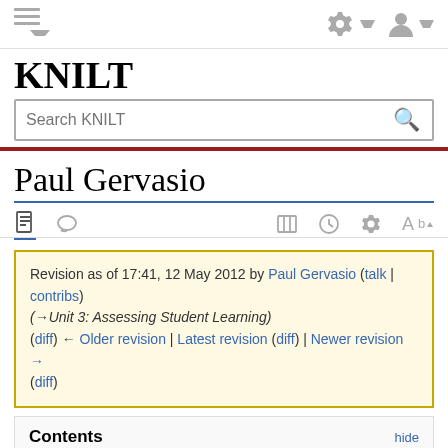KNILT
Paul Gervasio
Revision as of 17:41, 12 May 2012 by Paul Gervasio (talk | contribs)
(→Unit 3: Assessing Student Learning)
(diff) ← Older revision | Latest revision (diff) | Newer revision → (diff)
Contents
1 Course Title – Using Microsoft Movie Maker as an Instructional Tool